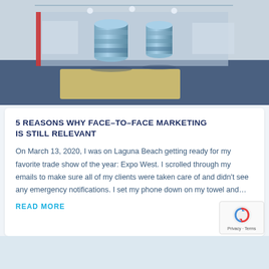[Figure (photo): Indoor trade show exhibit hall with a cylindrical aquarium or display booth in the center, blue carpet flooring, beige flooring area beneath the booth, and various other exhibition stands in the background.]
5 REASONS WHY FACE–TO–FACE MARKETING IS STILL RELEVANT
On March 13, 2020, I was on Laguna Beach getting ready for my favorite trade show of the year: Expo West. I scrolled through my emails to make sure all of my clients were taken care of and didn't see any emergency notifications. I set my phone down on my towel and…
READ MORE